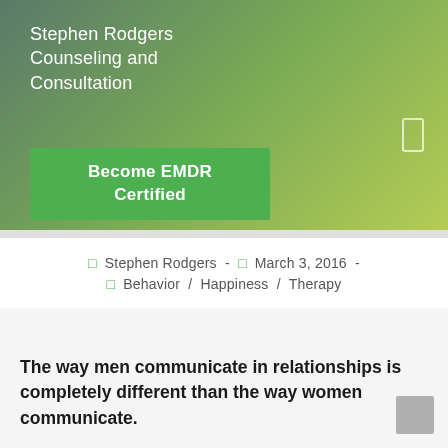Stephen Rodgers Counseling and Consultation
[Figure (other): Green gradient header banner with logo text and Become EMDR Certified button]
□ Stephen Rodgers - □ March 3, 2016 - □ Behavior / Happiness / Therapy
The way men communicate in relationships is completely different than the way women communicate.